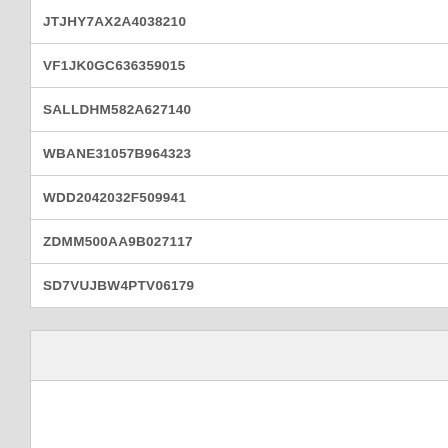| JTJHY7AX2A4038210 |
| VF1JK0GC636359015 |
| SALLDHM582A627140 |
| WBANE31057B964323 |
| WDD2042032F509941 |
| ZDMM500AA9B027117 |
| SD7VUJBW4PTV06179 |